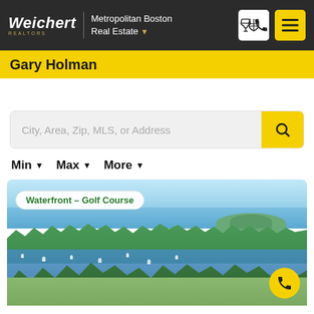Weichert REALTORS | Metropolitan Boston Real Estate
Gary Holman
City, Area, Zip, MLS, or Address
Min  Max  More
[Figure (photo): Aerial photo of a coastal New England waterfront with boats in a harbor, green trees, waterfront properties, and a small island in the background. Tag reads Waterfront - Golf Course.]